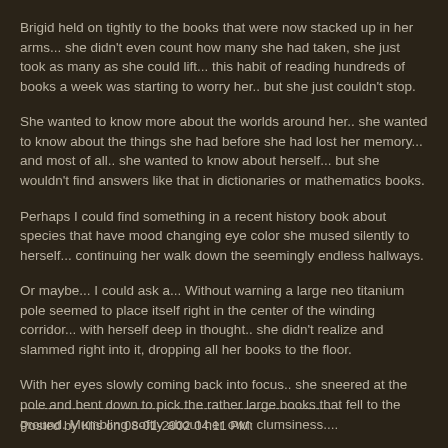Brigid held on tightly to the books that were now stacked up in her arms... she didn't even count how many she had taken, she just took as many as she could lift... this habit of reading hundreds of books a week was starting to worry her.. but she just couldn't stop.
She wanted to know more about the worlds around her.. she wanted to know about the things she had before she had lost her memory... and most of all.. she wanted to know about herself... but she wouldn't find answers like that in dictionaries or mathematics books.
Perhaps I could find something in a recent history book about species that have mood changing eye color she mused silently to herself... continuing her walk down the seemingly endless hallways.
Or maybe... I could ask a... Without warning a large neo titanium pole seemed to place itself right in the center of the winding corridor... with herself deep in thought.. she didn't realize and slammed right into it, dropping all her books to the floor.
With her eyes slowly coming back into focus.. she sneered at the pole and bent down to pick the rather large books that fell to the ground. Mumbling softly about her own clumsiness....
--------------------------------------------------------------------------------
Posted by Klis on 08-01-2002 04:11 PM: